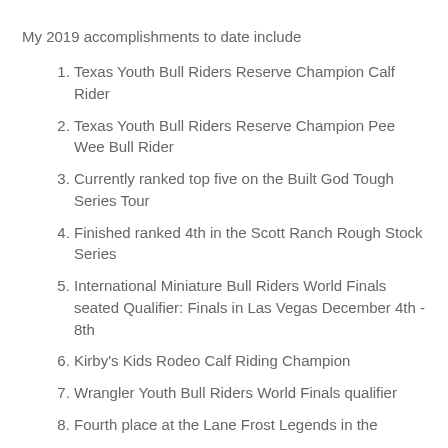My 2019 accomplishments to date include
Texas Youth Bull Riders Reserve Champion Calf Rider
Texas Youth Bull Riders Reserve Champion Pee Wee Bull Rider
Currently ranked top five on the Built God Tough Series Tour
Finished ranked 4th in the Scott Ranch Rough Stock Series
International Miniature Bull Riders World Finals seated Qualifier: Finals in Las Vegas December 4th - 8th
Kirby's Kids Rodeo Calf Riding Champion
Wrangler Youth Bull Riders World Finals qualifier
Fourth place at the Lane Frost Legends in the